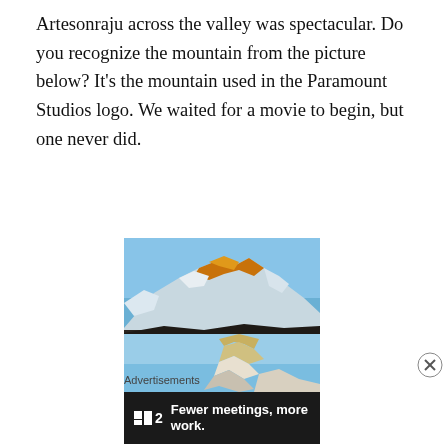Artesonraju across the valley was spectacular. Do you recognize the mountain from the picture below? It's the mountain used in the Paramount Studios logo. We waited for a movie to begin, but one never did.
[Figure (photo): Mountain photo showing snow-capped peaks with alpenglow (golden sunlight on peaks) at Alpamayo basecamp, with dark rocky foreground. Caption overlay: 'Alpenglow, Alpamayo basecamp']
[Figure (photo): Partial photo of a sharp mountain peak (likely Artesonraju) against blue sky, cut off at bottom of page.]
Advertisements
[Figure (logo): Advertisement banner: dark background with a small square logo icon, bold white text reading 'F2  Fewer meetings, more work.']